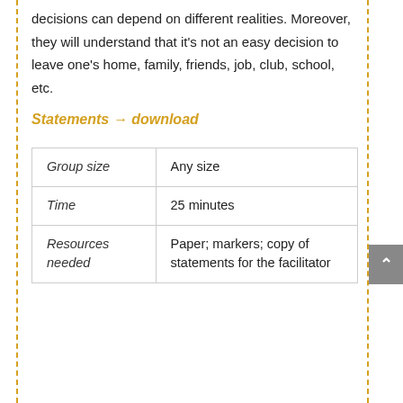decisions can depend on different realities. Moreover, they will understand that it's not an easy decision to leave one's home, family, friends, job, club, school, etc.
Statements → download
| Group size | Any size |
| --- | --- |
| Time | 25 minutes |
| Resources needed | Paper; markers; copy of statements for the facilitator |